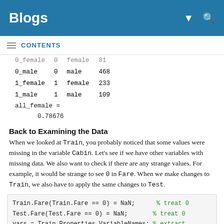Blogs
CONTENTS
| 0_female | 0 | female | 81 |
| 0_male | 0 | male | 468 |
| 1_female | 1 | female | 233 |
| 1_male | 1 | male | 109 |
all_female =
    0.78676
Back to Examining the Data
When we looked at Train, you probably noticed that some values were missing in the variable Cabin. Let's see if we have other variables with missing data. We also want to check if there are any strange values. For example, it would be strange to see 0 in Fare. When we make changes to Train, we also have to apply the same changes to Test.
Train.Fare(Train.Fare == 0) = NaN;    % treat 0
Test.Fare(Test.Fare == 0) = NaN;     % treat 0
vars = Train.Properties.VariableNames;  % extract